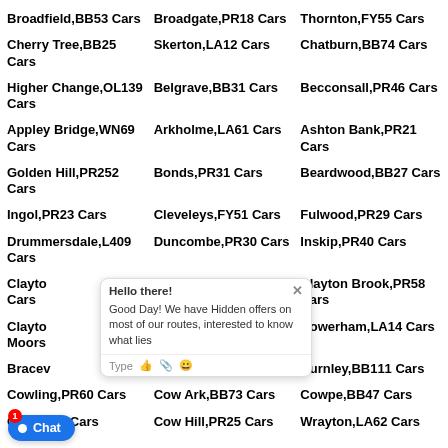Broadfield,BB53 Cars
Broadgate,PR18 Cars
Thornton,FY55 Cars
Cherry Tree,BB25 Cars
Skerton,LA12 Cars
Chatburn,BB74 Cars
Higher Change,OL139 Cars
Belgrave,BB31 Cars
Becconsall,PR46 Cars
Appley Bridge,WN69 Cars
Arkholme,LA61 Cars
Ashton Bank,PR21 Cars
Golden Hill,PR252 Cars
Bonds,PR31 Cars
Beardwood,BB27 Cars
Ingol,PR23 Cars
Cleveleys,FY51 Cars
Fulwood,PR29 Cars
Drummersdale,L409 Cars
Duncombe,PR30 Cars
Inskip,PR40 Cars
Clayton-le-Woods Cars
Clow Bridge,BB115 Cars
Clayton Brook,PR58 Cars
Clayton-le-Moors Cars
Fairhaven,FY81 Cars
Bowerham,LA14 Cars
Bracewell Cars
Brierfield,BB95 Cars
Burnley,BB111 Cars
Cowling,PR60 Cars
Cow Ark,BB73 Cars
Cowpe,BB47 Cars
Caton,LA59 Cars
Cow Hill,PR25 Cars
Wrayton,LA62 Cars